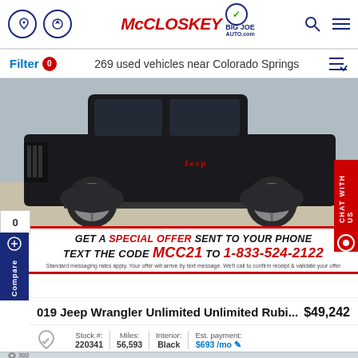McCLOSKEY BIG JOE AUTO.com — dealer website header with phone and directions icons, search and menu icons
Filter  0   269 used vehicles near Colorado Springs
[Figure (photo): Black Jeep Wrangler Unlimited side view in parking lot]
GET A SPECIAL OFFER SENT TO YOUR PHONE TEXT THE CODE MCC21 TO 1-833-524-2122 Standard messaging rates apply. Your offer will arrive by text message. We'll call to confirm receipt & validate your offer
019 Jeep Wrangler Unlimited Unlimited Rubi...   $49,242
Stock #: 220341   Miles: 56,593   Interior: Black   Est. payment: $693 /mo
302   McCLOSKEY BIG JOE AUTO.com